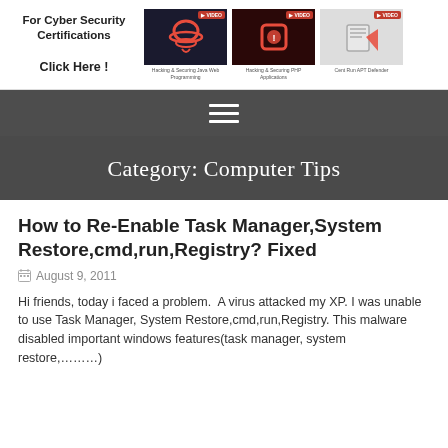[Figure (screenshot): Header banner with text 'For Cyber Security Certifications Click Here!' and three thumbnail images for hacking/security courses: Hacking & Securing Java Web Programming, Hacking & Securing PHP Applications, Cent Run APT Defender]
[Figure (other): Dark navigation bar with hamburger menu icon (three horizontal lines)]
Category: Computer Tips
How to Re-Enable Task Manager,System Restore,cmd,run,Registry? Fixed
August 9, 2011
Hi friends, today i faced a problem.  A virus attacked my XP. I was unable to use Task Manager, System Restore,cmd,run,Registry. This malware disabled important windows features(task manager, system restore,…….)